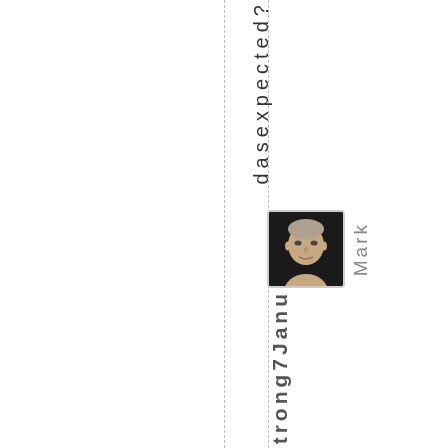dasexpected?
[Figure (photo): Headshot photo of a man with short hair, light skin, wearing a plain top, neutral expression, against a dark background. Displayed in a small rounded square frame.]
Mark
Strong7 January